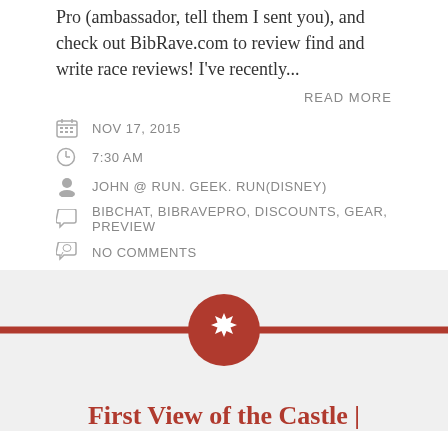Pro (ambassador, tell them I sent you), and check out BibRave.com to review find and write race reviews! I've recently...
READ MORE
NOV 17, 2015
7:30 AM
JOHN @ RUN. GEEK. RUN(DISNEY)
BIBCHAT, BIBRAVEPRO, DISCOUNTS, GEAR, PREVIEW
NO COMMENTS
[Figure (infographic): Horizontal divider with a dark red line and a dark red circle containing a white snowflake/star icon in the center]
First View of the Castle |